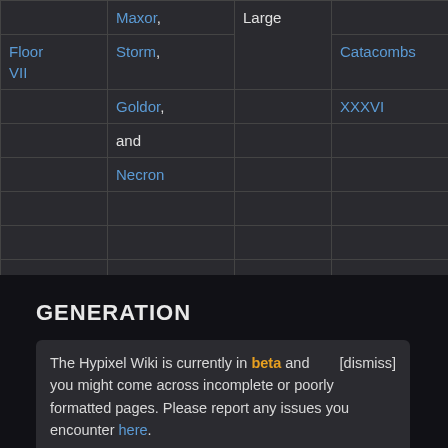|  |  |  |  |  |
| --- | --- | --- | --- | --- |
| Floor VII | Maxor, Storm, Goldor, and Necron | Large | Catacombs XXXVI | Catacombs eons a... Never defeated feared anything living A dead. |
GENERATION
The Hypixel Wiki is currently in beta and you might come across incomplete or poorly formatted pages. Please report any issues you encounter here.